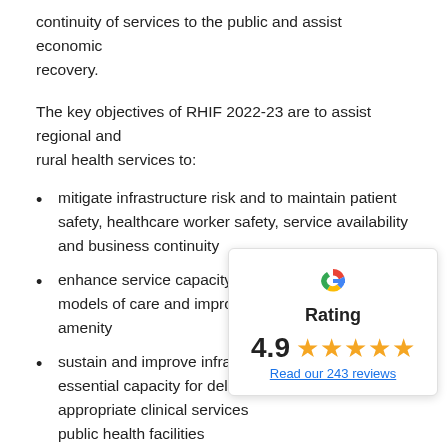continuity of services to the public and assist economic recovery.
The key objectives of RHIF 2022-23 are to assist regional and rural health services to:
mitigate infrastructure risk and to maintain patient safety, healthcare worker safety, service availability and business continuity
enhance service capacity, support contemporary models of care and improve patient and staff amenity
sustain and improve infrastructure and essential capacity for delivery of appropriate clinical services at public health facilities
provide a stronger role for communities that will allow care to be safely provided closer to where
[Figure (infographic): Google Rating overlay showing 4.9 stars out of 5 with 5 gold stars and a link to Read our 243 reviews]